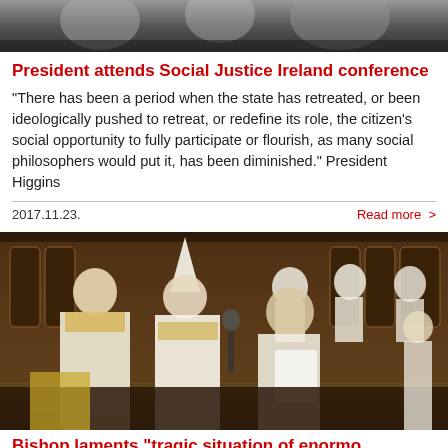[Figure (photo): Top banner photo of people, partially visible, black and white tones]
President attends Social Justice Ireland conference
“There has been a period when the state has retreated, or been ideologically pushed to retreat, or redefine its role, the citizen’s social opportunity to fully participate or flourish, as many social philosophers would put it, has been diminished.” President Higgins
2017.11.23.
Read more >
[Figure (photo): Religious ceremony photo showing clergy in white vestments inside a church with ornate wooden choir stalls]
Bishop laments “tragic situation of enormous…